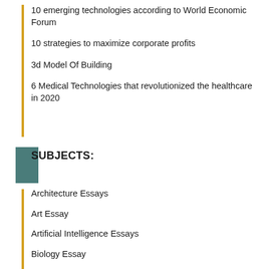10 emerging technologies according to World Economic Forum
10 strategies to maximize corporate profits
3d Model Of Building
6 Medical Technologies that revolutionized the healthcare in 2020
SUBJECTS:
Architecture Essays
Art Essay
Artificial Intelligence Essays
Biology Essay
Biomedical Engineering
Business Essay
Chemistry Essay